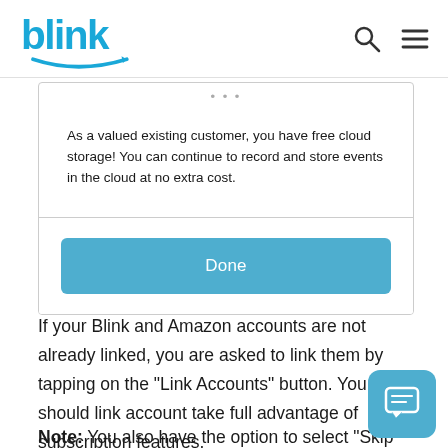blink
[Figure (screenshot): Modal dialog with text: 'As a valued existing customer, you have free cloud storage! You can continue to record and store events in the cloud at no extra cost.' and a 'Done' button.]
If your Blink and Amazon accounts are not already linked, you are asked to link them by tapping on the "Link Accounts" button. You should link account take full advantage of subscription features.
Note: You also have the option to select "Skip"